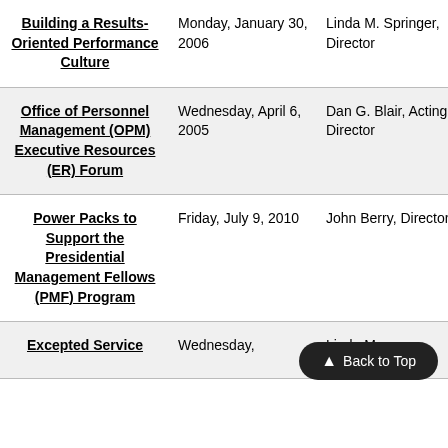| Topic | Date | Speaker |  |
| --- | --- | --- | --- |
| Building a Results-Oriented Performance Culture | Monday, January 30, 2006 | Linda M. Springer, Director | tran |
| Office of Personnel Management (OPM) Executive Resources (ER) Forum | Wednesday, April 6, 2005 | Dan G. Blair, Acting Director | tran |
| Power Packs to Support the Presidential Management Fellows (PMF) Program | Friday, July 9, 2010 | John Berry, Director |  |
| Excepted Service... | Wednesday, ... | Linda M. ... |  |